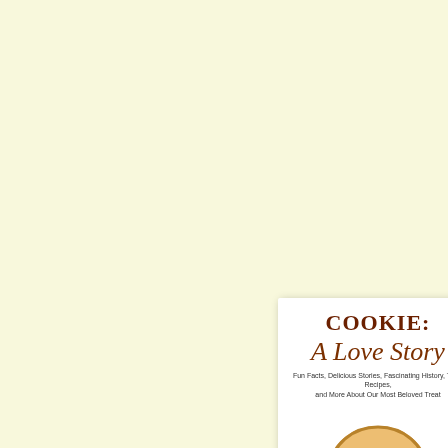[Figure (illustration): Book cover for 'COOKIE: A Love Story' with subtitle 'Fun Facts, Delicious Stories, Fascinating History, Tasty Recipes, and More About Our Most Beloved Treat' and a chocolate chip cookie image at the bottom, on a white background with pale yellow page background.]